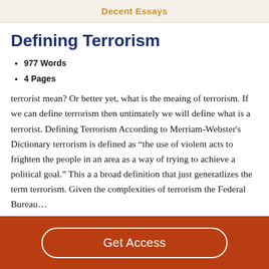Decent Essays
Defining Terrorism
977 Words
4 Pages
terrorist mean? Or better yet, what is the meaing of terrorism. If we can define terrorism then untimately we will define what is a terrorist. Defining Terrorism According to Merriam-Webster's Dictionary terrorism is defined as “the use of violent acts to frighten the people in an area as a way of trying to achieve a political goal.” This a a broad definition that just generatlizes the term terrorism. Given the complexities of terrorism the Federal Bureau…
Get Access